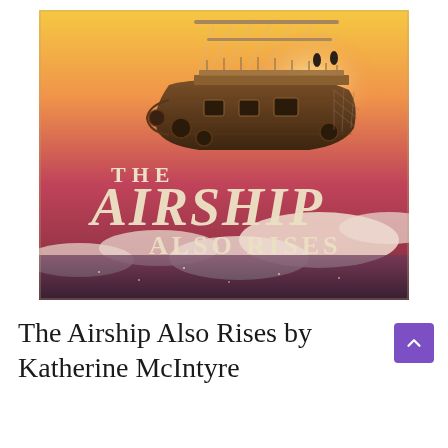[Figure (illustration): Book cover for 'The Airship Also Rises' by Katherine McIntyre. Shows a steampunk flying ship with sails and rigging hovering above clouds and a panoramic sunset landscape. The title text reads 'THE AIRSHIP ALSO RISES' in ornate serif lettering in cream/ivory color over a pinkish-red sky background.]
The Airship Also Rises by Katherine McIntyre